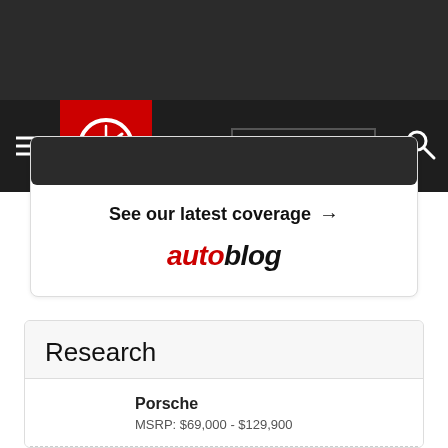[Figure (screenshot): Dark gray top bar background area]
[Figure (logo): Car and Driver logo - red square with white speedometer icon, navigation bar with hamburger menu, Make & Model dropdown, and search icon]
See our latest coverage →
[Figure (logo): Autoblog logo in red and black italic text]
Research
Porsche
MSRP: $69,000 - $129,900
Porsche
MSRP: $101,200 - $219,800